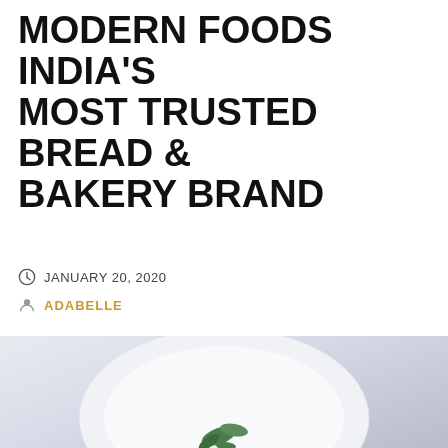MODERN FOODS INDIA'S MOST TRUSTED BREAD & BAKERY BRAND
JANUARY 20, 2020
ADABELLE
[Figure (photo): A white plate with green herb garnish on a light grey textured background, viewed from above.]